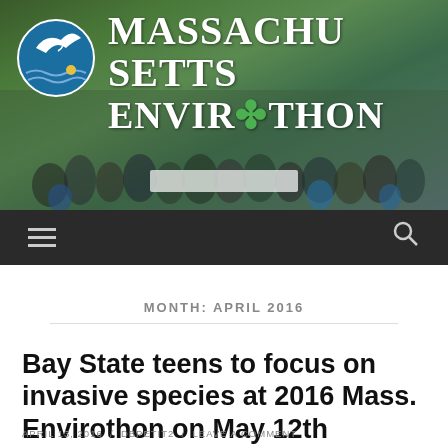[Figure (photo): Massachusetts Envirothon website header banner showing a group photo of teens outdoors with a white banner, overlaid with the site logo and title text 'MASSACHUSETTS ENVIROTHON']
MASSACHUSETTS ENVIROTHON
MONTH: APRIL 2016
Bay State teens to focus on invasive species at 2016 Mass. Envirothon on May 12th
APRIL 13, 2016 / DBPETIT2 / LEAVE A COMMENT